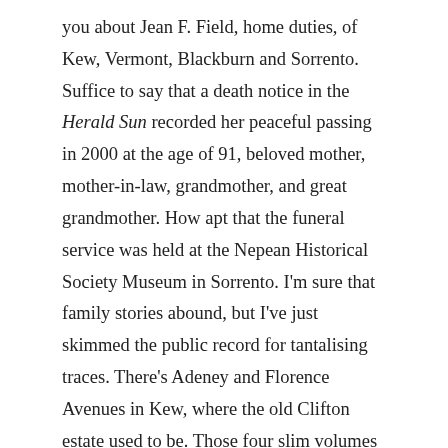you about Jean F. Field, home duties, of Kew, Vermont, Blackburn and Sorrento. Suffice to say that a death notice in the Herald Sun recorded her peaceful passing in 2000 at the age of 91, beloved mother, mother-in-law, grandmother, and great grandmother. How apt that the funeral service was held at the Nepean Historical Society Museum in Sorrento. I'm sure that family stories abound, but I've just skimmed the public record for tantalising traces. There's Adeney and Florence Avenues in Kew, where the old Clifton estate used to be. Those four slim volumes that sought to honour past achievements; a few references in newspapers and other records; a few feelers put out to people who vaguely remembered an